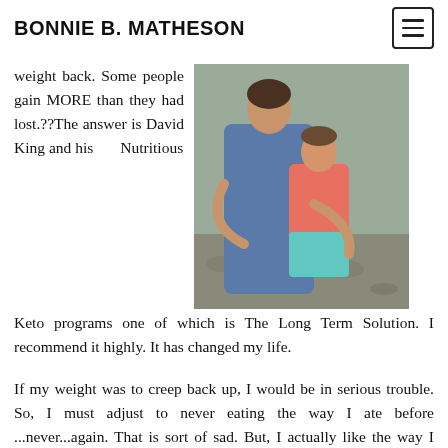BONNIE B. MATHESON
weight back. Some people gain MORE than they had lost.??The answer is David King and his Nutritious Keto programs one of which is The Long Term Solution. I recommend it highly. It has changed my life.
[Figure (photo): A woman in a patterned blue dress holding a young child in a pink shirt and teal pants, standing outdoors on what appears to be a gravel or stone surface.]
If my weight was to creep back up, I would be in serious trouble. So, I must adjust to never eating the way I ate before ...never...again. That is sort of sad. But, I actually like the way I must eat most of the time. My clear mind and feeling of alertness reminds